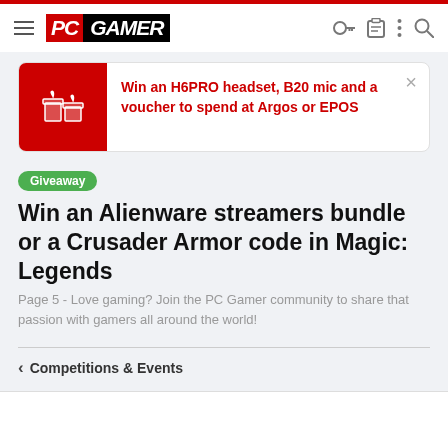PC GAMER
Win an H6PRO headset, B20 mic and a voucher to spend at Argos or EPOS
Giveaway Win an Alienware streamers bundle or a Crusader Armor code in Magic: Legends
Page 5 - Love gaming? Join the PC Gamer community to share that passion with gamers all around the world!
< Competitions & Events